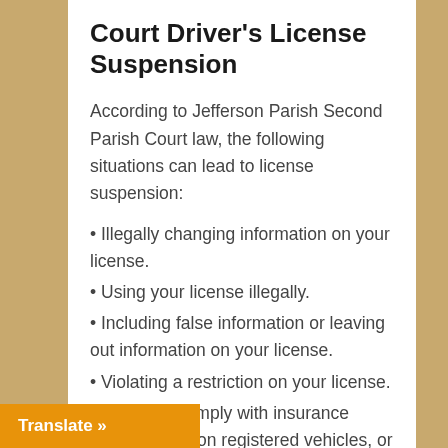Court Driver's License Suspension
According to Jefferson Parish Second Parish Court law, the following situations can lead to license suspension:
Illegally changing information on your license.
Using your license illegally.
Including false information or leaving out information on your license.
Violating a restriction on your license.
Failing to comply with insurance requirements on registered vehicles, or